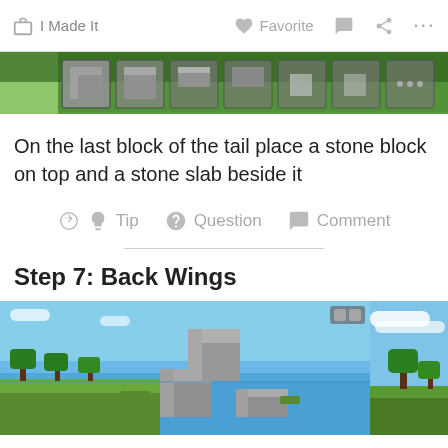I Made It   Favorite   Comment   Share   ...
[Figure (screenshot): Minecraft game screenshot showing inventory bar with stone blocks and slabs at top of page]
On the last block of the tail place a stone block on top and a stone slab beside it
Tip   Question   Comment
Step 7: Back Wings
[Figure (screenshot): Minecraft game screenshot showing stone blocks placed to form back wings structure over water landscape]
[Figure (screenshot): Minecraft game screenshot showing landscape with trees and sky (partially visible, right side)]